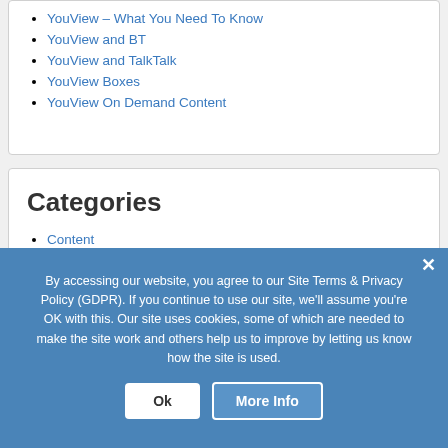YouView – What You Need To Know
YouView and BT
YouView and TalkTalk
YouView Boxes
YouView On Demand Content
Categories
Content
Installation
Movies
Site News
YouView Question
By accessing our website, you agree to our Site Terms & Privacy Policy (GDPR). If you continue to use our site, we'll assume you're OK with this. Our site uses cookies, some of which are needed to make the site work and others help us to improve by letting us know how the site is used.